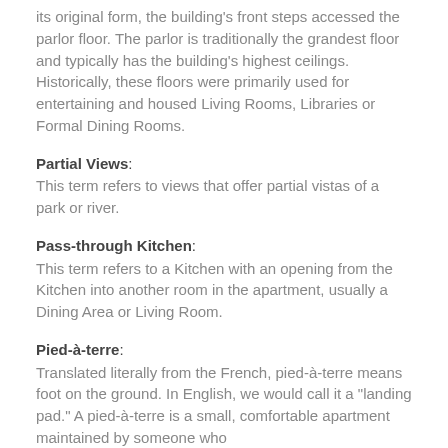its original form, the building's front steps accessed the parlor floor. The parlor is traditionally the grandest floor and typically has the building's highest ceilings. Historically, these floors were primarily used for entertaining and housed Living Rooms, Libraries or Formal Dining Rooms.
Partial Views:
This term refers to views that offer partial vistas of a park or river.
Pass-through Kitchen:
This term refers to a Kitchen with an opening from the Kitchen into another room in the apartment, usually a Dining Area or Living Room.
Pied-à-terre:
Translated literally from the French, pied-à-terre means foot on the ground. In English, we would call it a "landing pad." A pied-à-terre is a small, comfortable apartment maintained by someone who